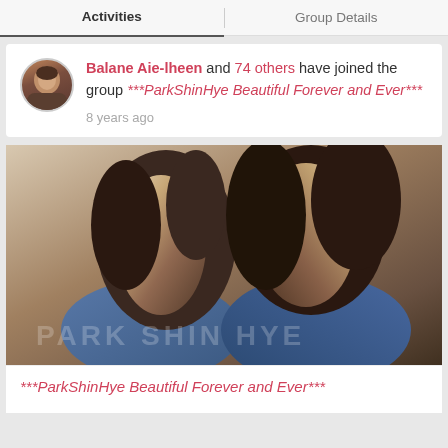Activities | Group Details
Balane Aie-lheen and 74 others have joined the group ***ParkShinHye Beautiful Forever and Ever***
8 years ago
[Figure (photo): Photo of two young women with long dark hair wearing denim jackets, posed back-to-back. Text 'PARK SHIN HYE' visible as watermark across the bottom of the image.]
***ParkShinHye Beautiful Forever and Ever***